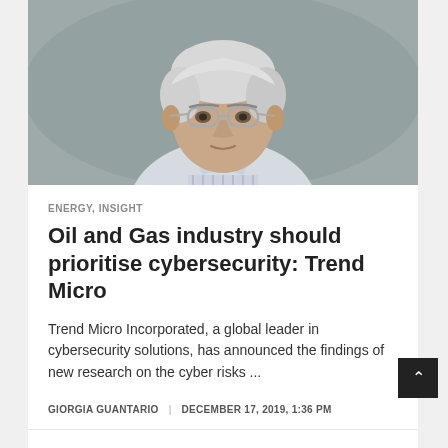[Figure (photo): Portrait photo of an older man with white/grey hair, wearing glasses and a light striped shirt, grey background]
ENERGY, INSIGHT
Oil and Gas industry should prioritise cybersecurity: Trend Micro
Trend Micro Incorporated, a global leader in cybersecurity solutions, has announced the findings of new research on the cyber risks ...
GIORGIA GUANTARIO  |  DECEMBER 17, 2019, 1:36 PM